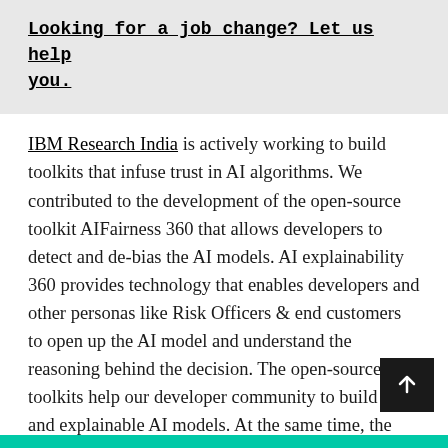Looking for a job change? Let us help you.
IBM Research India is actively working to build toolkits that infuse trust in AI algorithms. We contributed to the development of the open-source toolkit AIFairness 360 that allows developers to detect and de-bias the AI models. AI explainability 360 provides technology that enables developers and other personas like Risk Officers & end customers to open up the AI model and understand the reasoning behind the decision. The open-source toolkits help our developer community to build fair and explainable AI models. At the same time, the team works very closely with IBM Products and Services to include these capabilities in the IBM